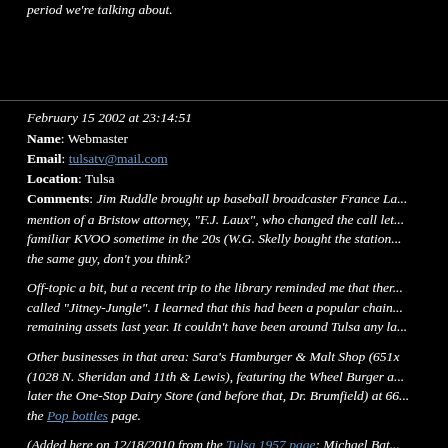period we're talking about.
February 15 2002 at 23:14:51
Name: Webmaster
Email: tulsatv@mail.com
Location: Tulsa
Comments: Jim Ruddle brought up baseball broadcaster France La... mention of a Bristow attorney, "F.J. Laux", who changed the call let... familiar KVOO sometime in the 20s (W.G. Skelly bought the station ... the same guy, don't you think?
Off-topic a bit, but a recent trip to the library reminded me that ther... called "Jitney-Jungle". I learned that this had been a popular chain ... remaining assets last year. It couldn't have been around Tulsa any la...
Other businesses in that area: Sara's Hamburger & Malt Shop (6518... (1028 N. Sheridan and 11th & Lewis), featuring the Wheel Burger a... later the One-Stop Dairy Store (and before that, Dr. Brumfield) at 66... the Pop bottles page.
(Added  here on 12/18/2010 from the Tulsa 1957 page: Michael Bat... to create a Google file from the 1957 Polk's City Directory showing